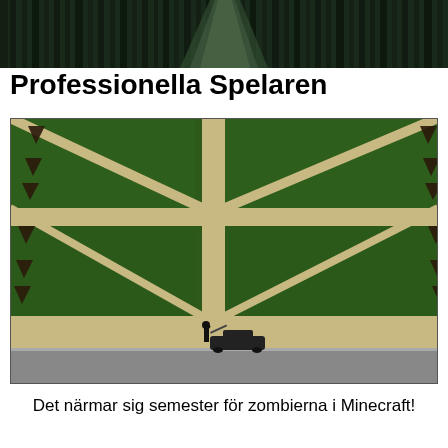[Figure (photo): Aerial/overhead view of dark green bamboo forest or avenue with tall trees forming a dense canopy, viewed from above looking down a long corridor]
Professionella Spelaren
[Figure (photo): Aerial view of a large green lawn or park divided by sandy/beige diagonal paths forming a grid pattern. Dark triangular markers are placed along the sides. In the foreground at the bottom, a small black car is parked on a road with a person standing next to it with the hood open.]
Det närmar sig semester för zombierna i Minecraft!